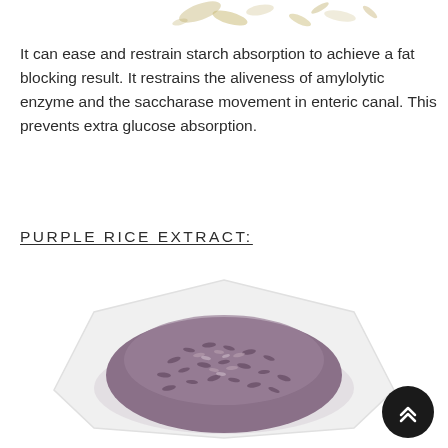[Figure (photo): Partial image of plant/spice at the top of the page, cropped]
It can ease and restrain starch absorption to achieve a fat blocking result. It restrains the aliveness of amylolytic enzyme and the saccharase movement in enteric canal. This prevents extra glucose absorption.
PURPLE RICE EXTRACT:
[Figure (photo): A white hexagonal plate filled with purple/dark rice grains, photographed from above on a white background]